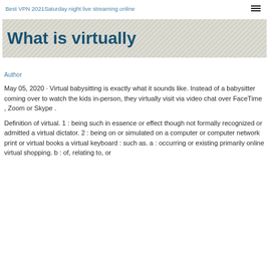Best VPN 2021Saturday night live streaming online
What is virtually
Author
May 05, 2020 · Virtual babysitting is exactly what it sounds like. Instead of a babysitter coming over to watch the kids in-person, they virtually visit via video chat over FaceTime , Zoom or Skype .
Definition of virtual. 1 : being such in essence or effect though not formally recognized or admitted a virtual dictator. 2 : being on or simulated on a computer or computer network print or virtual books a virtual keyboard : such as. a : occurring or existing primarily online virtual shopping. b : of, relating to, or